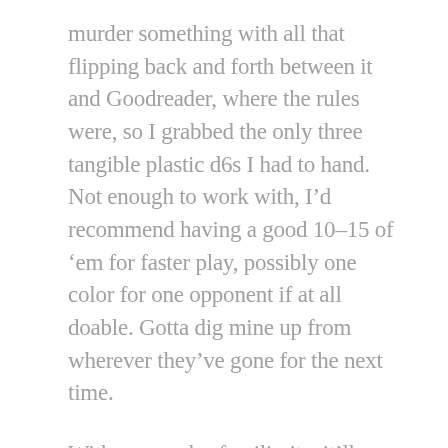murder something with all that flipping back and forth between it and Goodreader, where the rules were, so I grabbed the only three tangible plastic d6s I had to hand. Not enough to work with, I’d recommend having a good 10–15 of ‘em for faster play, possibly one color for one opponent if at all doable. Gotta dig mine up from wherever they’ve gone for the next time.
With more rules familiarity, it’ll likely go faster, but there is still a lot of tables and special Signature skills to cross‑reference.